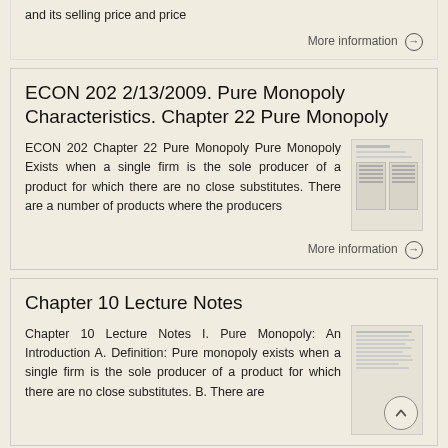and its selling price and price
More information →
ECON 202 2/13/2009. Pure Monopoly Characteristics. Chapter 22 Pure Monopoly
ECON 202 Chapter 22 Pure Monopoly Pure Monopoly Exists when a single firm is the sole producer of a product for which there are no close substitutes. There are a number of products where the producers
More information →
Chapter 10 Lecture Notes
Chapter 10 Lecture Notes I. Pure Monopoly: An Introduction A. Definition: Pure monopoly exists when a single firm is the sole producer of a product for which there are no close substitutes. B. There are